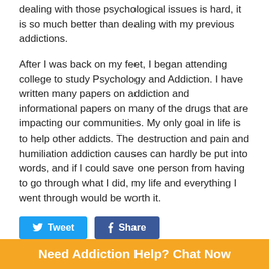dealing with those psychological issues is hard, it is so much better than dealing with my previous addictions.
After I was back on my feet, I began attending college to study Psychology and Addiction. I have written many papers on addiction and informational papers on many of the drugs that are impacting our communities. My only goal in life is to help other addicts. The destruction and pain and humiliation addiction causes can hardly be put into words, and if I could save one person from having to go through what I did, my life and everything I went through would be worth it.
[Figure (other): Social share buttons: Tweet (Twitter/blue) and Share (Facebook/dark blue)]
Comments   Community   🔒 Privacy Policy
Login ▾
♡ Favorite   Sort by Best ▾
Need Addiction Help? Chat Now